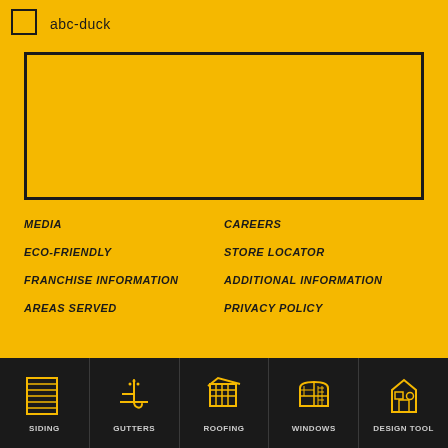abc-duck
[Figure (other): Empty yellow rectangle with thick black border — image placeholder]
MEDIA
CAREERS
ECO-FRIENDLY
STORE LOCATOR
FRANCHISE INFORMATION
ADDITIONAL INFORMATION
AREAS SERVED
PRIVACY POLICY
SIDING | GUTTERS | ROOFING | WINDOWS | DESIGN TOOL